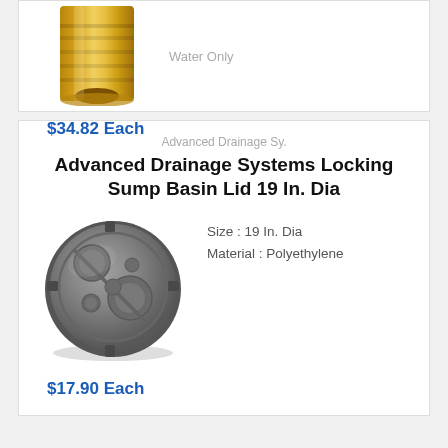[Figure (photo): Brass/gold colored cylindrical bushing or sleeve fitting, shown at top of card, partially cropped]
Water Only
$34.82 Each
Advanced Drainage Sy.
Advanced Drainage Systems Locking Sump Basin Lid 19 In. Dia
Size : 19 In. Dia
Material : Polyethylene
[Figure (photo): Gray polyethylene circular sump basin locking lid, 19 inch diameter, viewed from above]
$17.90 Each